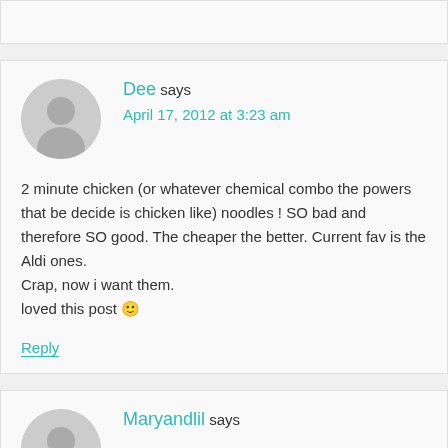[top comment stub - partial]
Dee says
April 17, 2012 at 3:23 am
2 minute chicken (or whatever chemical combo the powers that be decide is chicken like) noodles ! SO bad and therefore SO good. The cheaper the better. Current fav is the Aldi ones.
Crap, now i want them.
loved this post 🙂
Reply
Maryandlil says